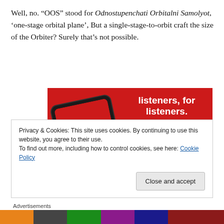Well, no. “OOS” stood for Odnostu penchati Orbitalni Samolyot, ‘one-stage orbital plane’, But a single-stage-to-orbit craft the size of the Orbiter? Surely that’s not possible.
[Figure (photo): Advertisement banner with red background showing a phone with podcast app 'Distributed' and text 'listeners, for listeners.' with a 'Download now' button]
Privacy & Cookies: This site uses cookies. By continuing to use this website, you agree to their use.
To find out more, including how to control cookies, see here: Cookie Policy
Close and accept
Advertisements